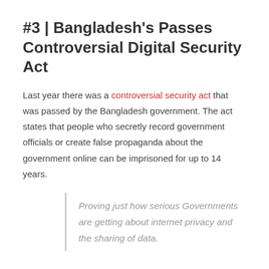#3 | Bangladesh's Passes Controversial Digital Security Act
Last year there was a controversial security act that was passed by the Bangladesh government. The act states that people who secretly record government officials or create false propaganda about the government online can be imprisoned for up to 14 years.
Proving just how serious Governments are getting about internet privacy and the sharing of data.
#4 | Enhanced Privacy with Pro Logins from Internet Giants